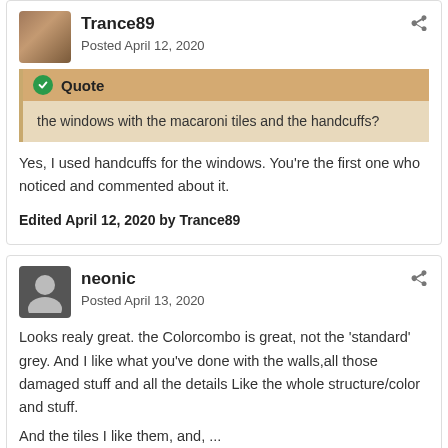Trance89
Posted April 12, 2020
Quote
the windows with the macaroni tiles and the handcuffs?
Yes, I used handcuffs for the windows. You're the first one who noticed and commented about it.
Edited April 12, 2020 by Trance89
neonic
Posted April 13, 2020
Looks realy great. the Colorcombo is great, not the 'standard' grey. And I like what you've done with the walls,all those damaged stuff and all the details Like the whole structure/color and stuff.